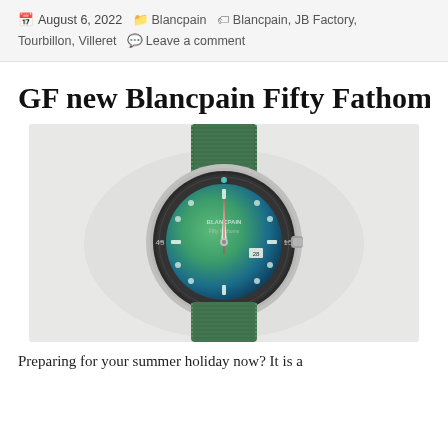August 6, 2022  Blancpain  Blancpain, JB Factory, Tourbillon, Villeret  Leave a comment
GF new Blancpain Fifty Fathom
[Figure (photo): Blancpain Fifty Fathoms watch with green NATO-style fabric strap and green/blue gradient dial on white background]
Preparing for your summer holiday now? It is a